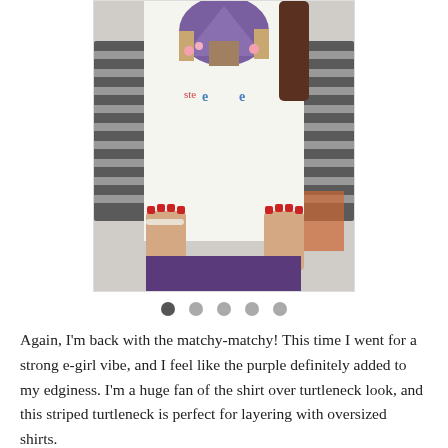[Figure (photo): A person wearing a striped turtleneck with an oversized graphic t-shirt (Japan-themed) layered over it, and purple pants. The person's hands are visible, showing red nail polish and a bracelet.]
Again, I'm back with the matchy-matchy! This time I went for a strong e-girl vibe, and I feel like the purple definitely added to my edginess. I'm a huge fan of the shirt over turtleneck look, and this striped turtleneck is perfect for layering with oversized shirts.